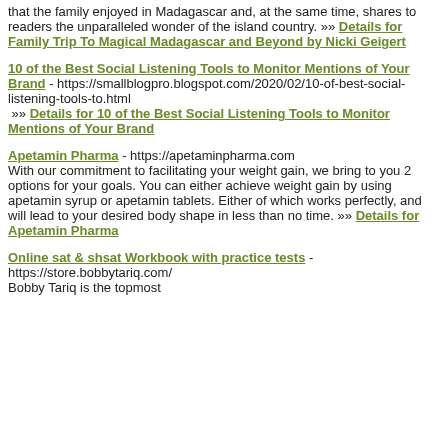that the family enjoyed in Madagascar and, at the same time, shares to readers the unparalleled wonder of the island country. »» Details for Family Trip To Magical Madagascar and Beyond by Nicki Geigert
10 of the Best Social Listening Tools to Monitor Mentions of Your Brand - https://smallblogpro.blogspot.com/2020/02/10-of-best-social-listening-tools-to.html »» Details for 10 of the Best Social Listening Tools to Monitor Mentions of Your Brand
Apetamin Pharma - https://apetaminpharma.com With our commitment to facilitating your weight gain, we bring to you 2 options for your goals. You can either achieve weight gain by using apetamin syrup or apetamin tablets. Either of which works perfectly, and will lead to your desired body shape in less than no time. »» Details for Apetamin Pharma
Online sat & shsat Workbook with practice tests - https://store.bobbytariq.com/ Bobby Tariq is the topmost